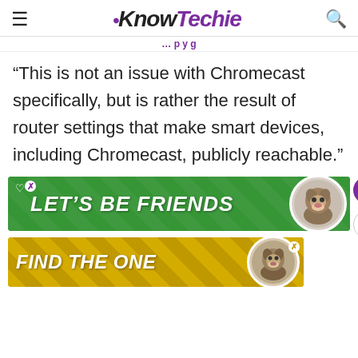KnowTechie
“This is not an issue with Chromecast specifically, but is rather the result of router settings that make smart devices, including Chromecast, publicly reachable.”
[Figure (other): Green advertisement banner reading LET'S BE FRIENDS with a dog mascot image]
[Figure (other): Yellow/gold advertisement banner reading FIND THE ONE with a dog mascot image]